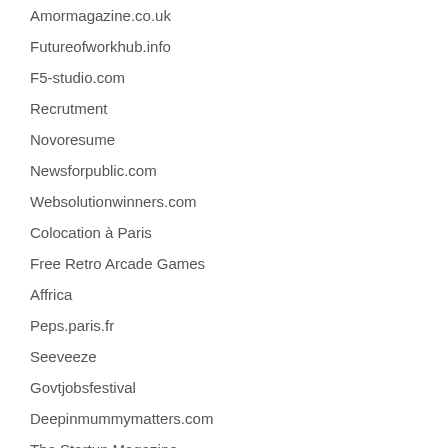Amormagazine.co.uk
Futureofworkhub.info
F5-studio.com
Recrutment
Novoresume
Newsforpublic.com
Websolutionwinners.com
Colocation à Paris
Free Retro Arcade Games
Affrica
Peps.paris.fr
Seeveeze
Govtjobsfestival
Deepinmummymatters.com
The Startup Magazine
Cv-Nation.com
A-teamrecruitment.com
Kellysthoughtsonthings.com
BourneTown.co.uk